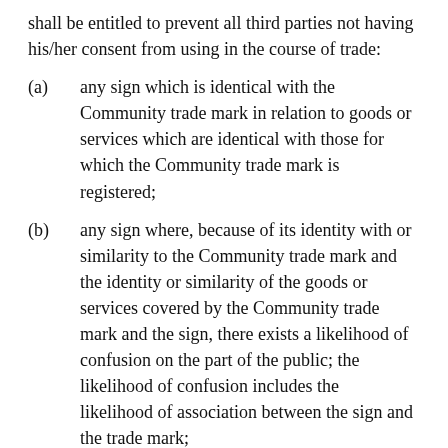shall be entitled to prevent all third parties not having his/her consent from using in the course of trade:
(a) any sign which is identical with the Community trade mark in relation to goods or services which are identical with those for which the Community trade mark is registered;
(b) any sign where, because of its identity with or similarity to the Community trade mark and the identity or similarity of the goods or services covered by the Community trade mark and the sign, there exists a likelihood of confusion on the part of the public; the likelihood of confusion includes the likelihood of association between the sign and the trade mark;
…'
8 Article 53(1) of Regulation No 207/2009 states:
'A Community trade mark shall be declared invalid